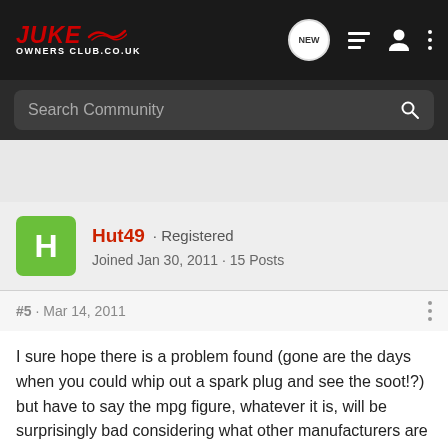JUKE OWNERS CLUB.CO.UK
Search Community
Hut49 · Registered
Joined Jan 30, 2011 · 15 Posts
#5 · Mar 14, 2011
I sure hope there is a problem found (gone are the days when you could whip out a spark plug and see the soot!?) but have to say the mpg figure, whatever it is, will be surprisingly bad considering what other manufacturers are achieving. We have a Dig-T CVT on order (not holding our breath on that, obviously) but hoped it would at least to be able to match what I get out of my Jag XF 3.0litre S diesel which weighs in at over 600kg